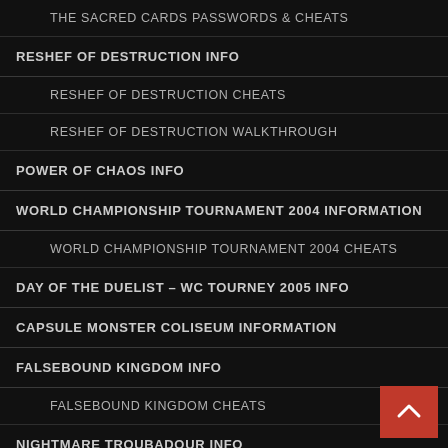THE SACRED CARDS PASSWORDS & CHEATS
RESHEF OF DESTRUCTION INFO
RESHEF OF DESTRUCTION CHEATS
RESHEF OF DESTRUCTION WALKTHROUGH
POWER OF CHAOS INFO
WORLD CHAMPIONSHIP TOURNAMENT 2004 INFORMATION
WORLD CHAMPIONSHIP TOURNAMENT 2004 CHEATS
DAY OF THE DUELIST – WC TOURNEY 2005 INFO
CAPSULE MONSTER COLISEUM INFORMATION
FALSEBOUND KINGDOM INFO
FALSEBOUND KINGDOM CHEATS
NIGHTMARE TROUBADOUR INFO